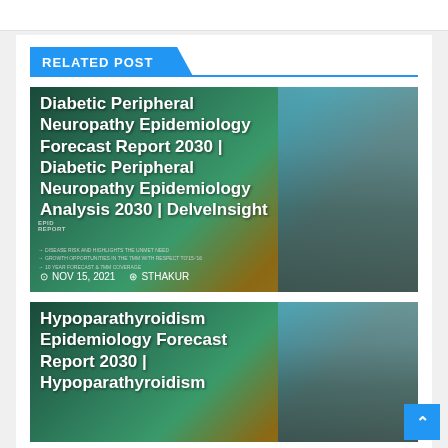RELATED POST
[Figure (photo): Diabetic Peripheral Neuropathy Epidemiology Forecast Report 2030 medical report card with epidemiology infographic image showing charts and a person with a smartphone]
Diabetic Peripheral Neuropathy Epidemiology Forecast Report 2030 | Diabetic Peripheral Neuropathy Epidemiology Analysis 2030 | DelveInsight
NOV 15, 2021  STHAKUR
[Figure (photo): Hypoparathyroidism Epidemiology Forecast Report 2030 medical report card with epidemiology infographic image]
Hypoparathyroidism Epidemiology Forecast Report 2030 | Hypoparathyroidism